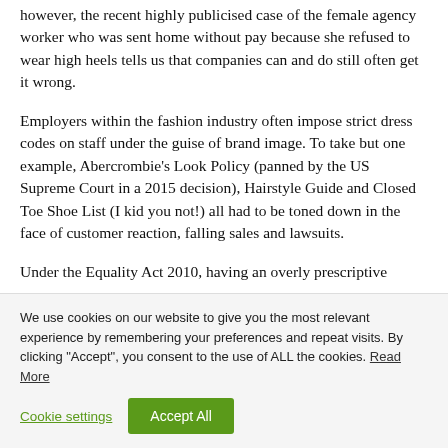however, the recent highly publicised case of the female agency worker who was sent home without pay because she refused to wear high heels tells us that companies can and do still often get it wrong.
Employers within the fashion industry often impose strict dress codes on staff under the guise of brand image. To take but one example, Abercrombie's Look Policy (panned by the US Supreme Court in a 2015 decision), Hairstyle Guide and Closed Toe Shoe List (I kid you not!) all had to be toned down in the face of customer reaction, falling sales and lawsuits.
Under the Equality Act 2010, having an overly prescriptive
We use cookies on our website to give you the most relevant experience by remembering your preferences and repeat visits. By clicking "Accept", you consent to the use of ALL the cookies. Read More
Cookie settings | Accept All